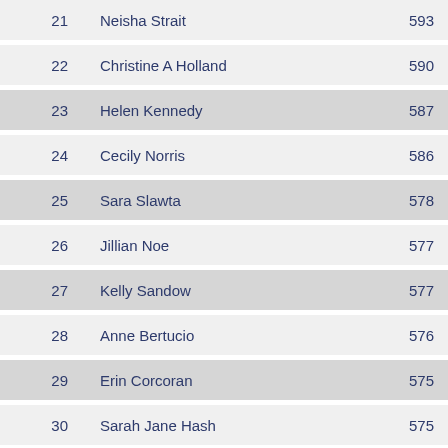| Rank | Name | Score |
| --- | --- | --- |
| 21 | Neisha Strait | 593 |
| 22 | Christine A Holland | 590 |
| 23 | Helen Kennedy | 587 |
| 24 | Cecily Norris | 586 |
| 25 | Sara Slawta | 578 |
| 26 | Jillian Noe | 577 |
| 27 | Kelly Sandow | 577 |
| 28 | Anne Bertucio | 576 |
| 29 | Erin Corcoran | 575 |
| 30 | Sarah Jane Hash | 575 |
| 31 | Cynthia Velasquez | 574 |
| 32 | Molly Cogswell-Kelley | 574 |